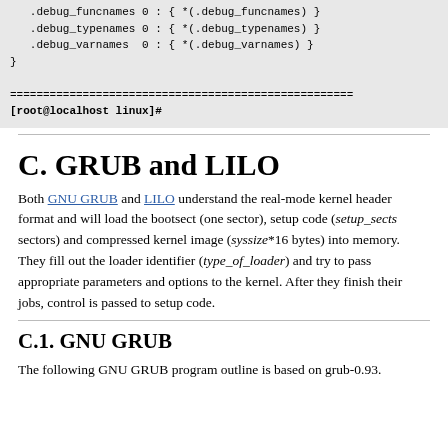.debug_funcnames 0 : { *(.debug_funcnames) }
   .debug_typenames 0 : { *(.debug_typenames) }
   .debug_varnames  0 : { *(.debug_varnames) }
}

====================================================
[root@localhost linux]#
C. GRUB and LILO
Both GNU GRUB and LILO understand the real-mode kernel header format and will load the bootsect (one sector), setup code (setup_sects sectors) and compressed kernel image (syssize*16 bytes) into memory. They fill out the loader identifier (type_of_loader) and try to pass appropriate parameters and options to the kernel. After they finish their jobs, control is passed to setup code.
C.1. GNU GRUB
The following GNU GRUB program outline is based on grub-0.93.